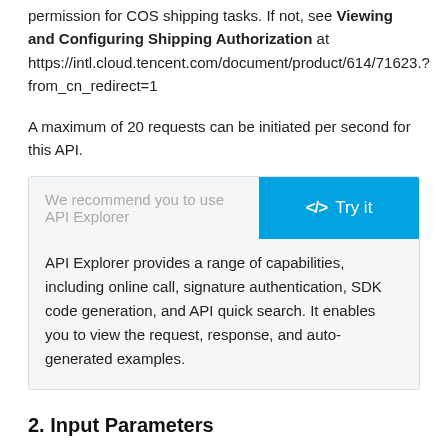permission for COS shipping tasks. If not, see Viewing and Configuring Shipping Authorization at https://intl.cloud.tencent.com/document/product/614/71623.?from_cn_redirect=1
A maximum of 20 requests can be initiated per second for this API.
[Figure (other): API Explorer recommendation box with 'We recommend you to use API Explorer' label and a blue 'Try it' button, plus description text about API Explorer capabilities.]
2. Input Parameters
The following request parameter list only provides API request parameters and some common parameters. For the complete